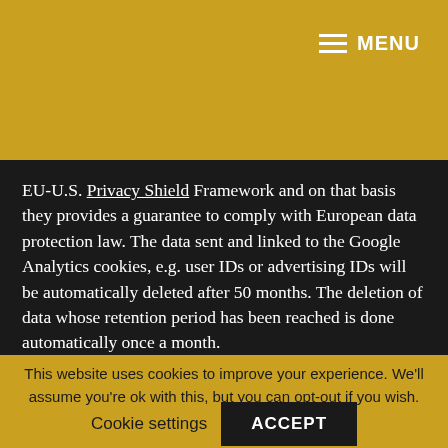MENU
EU-U.S. Privacy Shield Framework and on that basis they provides a guarantee to comply with European data protection law. The data sent and linked to the Google Analytics cookies, e.g. user IDs or advertising IDs will be automatically deleted after 50 months. The deletion of data whose retention period has been reached is done automatically once a month.
The website visitor may refuse the use of cookies by
This website uses cookies to improve your experience. We'll assume you're ok with this, but you can opt-out if you wish.
Cookie settings    ACCEPT